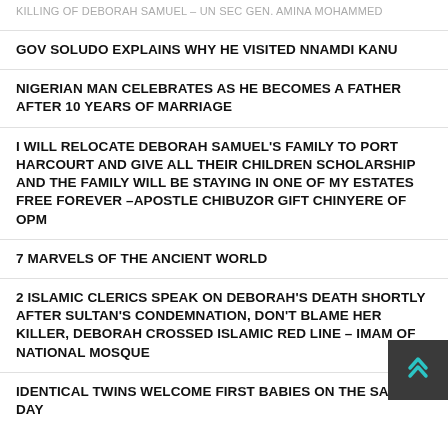KILLING OF DEBORAH SAMUEL – UN SEC GEN. AMINA MOHAMMED
GOV SOLUDO EXPLAINS WHY HE VISITED NNAMDI KANU
NIGERIAN MAN CELEBRATES AS HE BECOMES A FATHER AFTER 10 YEARS OF MARRIAGE
I WILL RELOCATE DEBORAH SAMUEL'S FAMILY TO PORT HARCOURT AND GIVE ALL THEIR CHILDREN SCHOLARSHIP AND THE FAMILY WILL BE STAYING IN ONE OF MY ESTATES FREE FOREVER –APOSTLE CHIBUZOR GIFT CHINYERE OF OPM
7 MARVELS OF THE ANCIENT WORLD
2 ISLAMIC CLERICS SPEAK ON DEBORAH'S DEATH SHORTLY AFTER SULTAN'S CONDEMNATION, DON'T BLAME HER KILLER, DEBORAH CROSSED ISLAMIC RED LINE – IMAM OF NATIONAL MOSQUE
IDENTICAL TWINS WELCOME FIRST BABIES ON THE SAME DAY